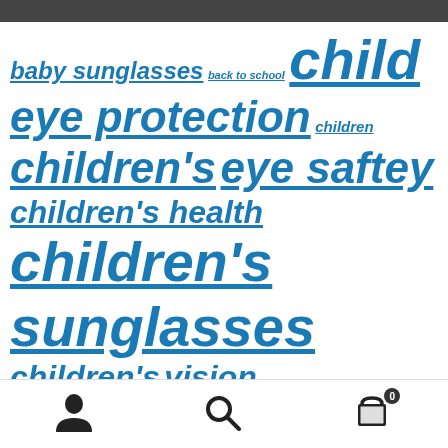baby sunglasses back to school child eye protection children children's eye saftey children's health children's sunglasses children's vision childrens eye health Concord eye health eye safety eye saftey tips eyewear fashionable sunglasses for tweens Infant Sunglasses kids kids eye health kids eye safety kids eyewear kids health kids
[Figure (other): Bottom navigation bar with user icon, search icon, and shopping cart icon with badge showing 0]